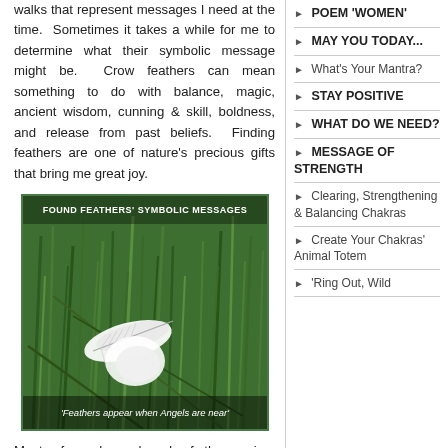walks that represent messages I need at the time. Sometimes it takes a while for me to determine what their symbolic message might be. Crow feathers can mean something to do with balance, magic, ancient wisdom, cunning & skill, boldness, and release from past beliefs. Finding feathers are one of nature's precious gifts that bring me great joy.
[Figure (photo): Photo of a white feather lying on grass with text overlay 'FOUND FEATHERS' SYMBOLIC MESSAGES' at top and caption 'Feathers appear when Angels are near' at bottom, framed in green border.]
Most of us have heard of the saying: "Feathers appear when Angels are near." Coming across a feather in your path
POEM 'WOMEN'
MAY YOU TODAY...
What's Your Mantra?
STAY POSITIVE
WHAT DO WE NEED?
MESSAGE OF STRENGTH
Clearing, Strengthening & Balancing Chakras
Create Your Chakras' Animal Totem
'Ring Out, Wild